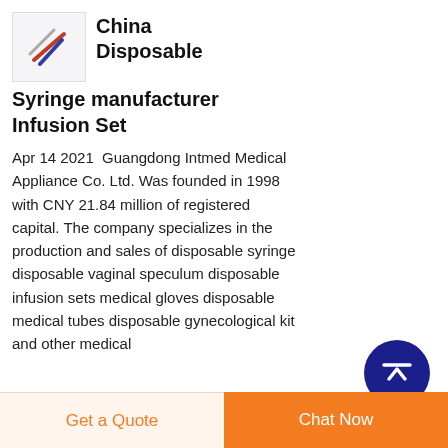[Figure (logo): Company logo with diagonal colored lines (red, blue, grey) on light background]
China Disposable Syringe manufacturer Infusion Set
Apr 14 2021  Guangdong Intmed Medical Appliance Co. Ltd. Was founded in 1998 with CNY 21.84 million of registered capital. The company specializes in the production and sales of disposable syringe disposable vaginal speculum disposable infusion sets medical gloves disposable medical tubes disposable gynecological kit and other medical
[Figure (other): Dark blue circular scroll-to-top button with white upward arrow]
Get a Quote   Chat Now